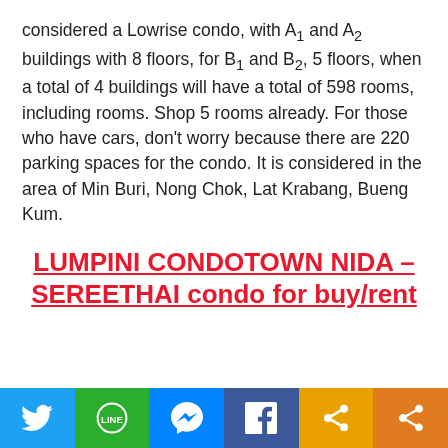considered a Lowrise condo, with A1 and A2 buildings with 8 floors, for B1 and B2, 5 floors, when a total of 4 buildings will have a total of 598 rooms, including rooms. Shop 5 rooms already. For those who have cars, don't worry because there are 220 parking spaces for the condo. It is considered in the area of Min Buri, Nong Chok, Lat Krabang, Bueng Kum.
LUMPINI CONDOTOWN NIDA – SEREETHAI condo for buy/rent
Social share bar: Twitter, LINE, Messenger, Facebook, Share, Share